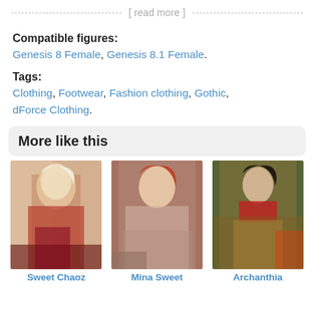[ read more ]
Compatible figures:
Genesis 8 Female, Genesis 8.1 Female.
Tags:
Clothing, Footwear, Fashion clothing, Gothic, dForce Clothing.
More like this
[Figure (photo): Photo of woman in red floral outfit with blonde hair]
[Figure (photo): Photo of woman in pink floral outfit with red hair]
[Figure (photo): Rendered 3D image of woman in ornate costume]
Sweet Chaoz
Mina Sweet
Archanthia